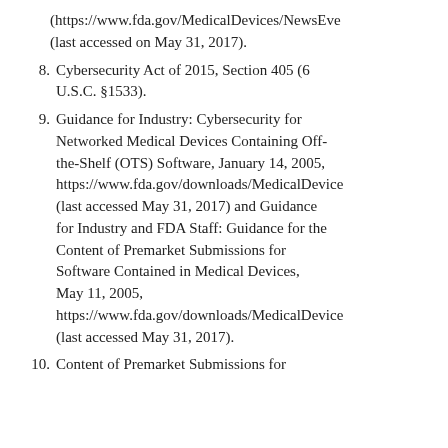(https://www.fda.gov/MedicalDevices/NewsEve (last accessed on May 31, 2017).
8. Cybersecurity Act of 2015, Section 405 (6 U.S.C. §1533).
9. Guidance for Industry: Cybersecurity for Networked Medical Devices Containing Off-the-Shelf (OTS) Software, January 14, 2005, https://www.fda.gov/downloads/MedicalDevice (last accessed May 31, 2017) and Guidance for Industry and FDA Staff: Guidance for the Content of Premarket Submissions for Software Contained in Medical Devices, May 11, 2005, https://www.fda.gov/downloads/MedicalDevice (last accessed May 31, 2017).
10. Content of Premarket Submissions for